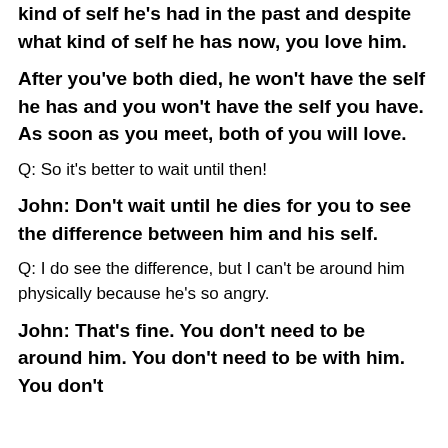kind of self he's had in the past and despite what kind of self he has now, you love him.
After you've both died, he won't have the self he has and you won't have the self you have. As soon as you meet, both of you will love.
Q:  So it's better to wait until then!
John: Don't wait until he dies for you to see the difference between him and his self.
Q: I do see the difference, but I can't be around him physically because he's so angry.
John: That's fine.  You don't need to be around him. You don't need to be with him. You don't